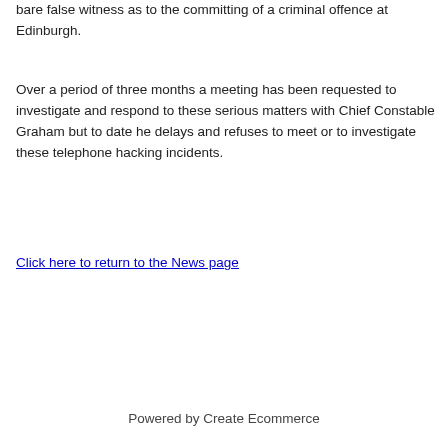bare false witness as to the committing of a criminal offence at Edinburgh.
Over a period of three months a meeting has been requested to investigate and respond to these serious matters with Chief Constable Graham but to date he delays and refuses to meet or to investigate these telephone hacking incidents.
Click here to return to the News page
Powered by Create Ecommerce